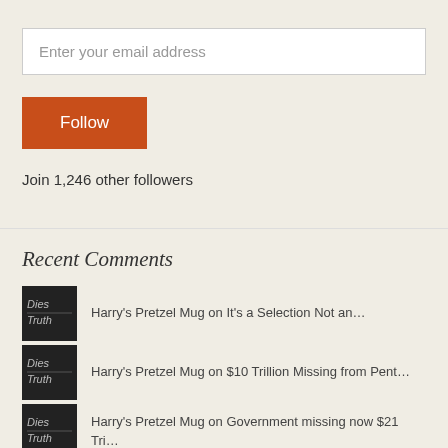Enter your email address
Follow
Join 1,246 other followers
Recent Comments
Harry's Pretzel Mug on It's a Selection Not an…
Harry's Pretzel Mug on $10 Trillion Missing from Pent…
Harry's Pretzel Mug on Government missing now $21 Tri…
jwlpeace on The Manufactured Invention of…